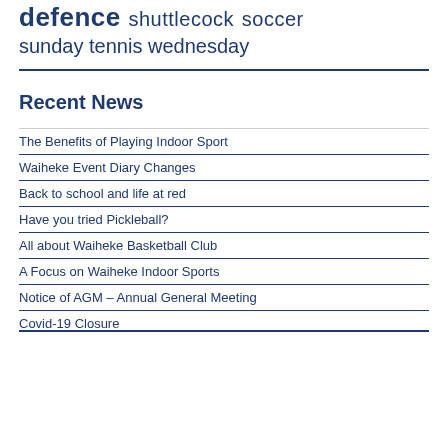defence shuttlecock soccer sunday tennis wednesday
Recent News
The Benefits of Playing Indoor Sport
Waiheke Event Diary Changes
Back to school and life at red
Have you tried Pickleball?
All about Waiheke Basketball Club
A Focus on Waiheke Indoor Sports
Notice of AGM – Annual General Meeting
Covid-19 Closure